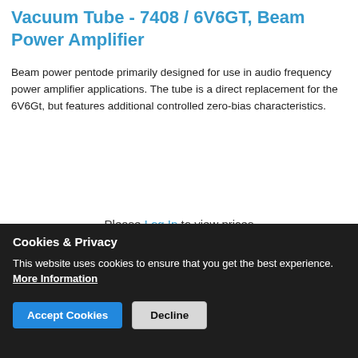Vacuum Tube - 7408 / 6V6GT, Beam Power Amplifier
Beam power pentode primarily designed for use in audio frequency power amplifier applications. The tube is a direct replacement for the 6V6Gt, but features additional controlled zero-bias characteristics.
Please Log In to view prices
Cookies & Privacy
This website uses cookies to ensure that you get the best experience. More Information
Accept Cookies  Decline